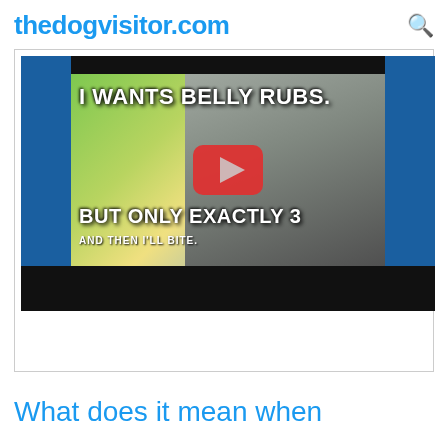thedogvisitor.com
[Figure (screenshot): YouTube-style video thumbnail embedded on thedogvisitor.com showing a cat meme with text: 'I WANTS BELLY RUBS. BUT ONLY EXACTLY 3 AND THEN I'LL BITE.' with a YouTube play button overlay]
What does it mean when